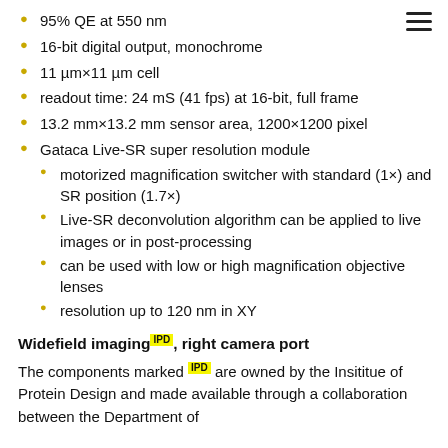95% QE at 550 nm
16-bit digital output, monochrome
11 µm×11 µm cell
readout time: 24 mS (41 fps) at 16-bit, full frame
13.2 mm×13.2 mm sensor area, 1200×1200 pixel
Gataca Live-SR super resolution module
motorized magnification switcher with standard (1×) and SR position (1.7×)
Live-SR deconvolution algorithm can be applied to live images or in post-processing
can be used with low or high magnification objective lenses
resolution up to 120 nm in XY
Widefield imaging IPD, right camera port
The components marked IPD are owned by the Insititue of Protein Design and made available through a collaboration between the Department of